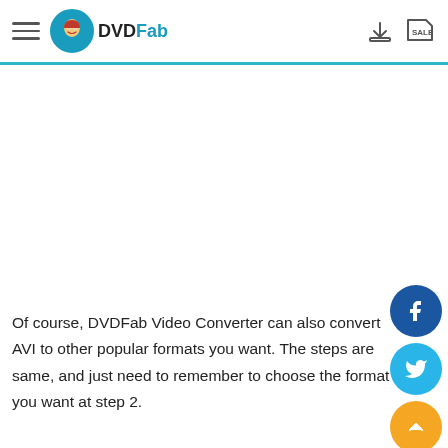DVDFab
Of course, DVDFab Video Converter can also convert AVI to other popular formats you want. The steps are same, and just need to remember to choose the format you want at step 2.
[Figure (illustration): Facebook, Twitter, and scroll-up social sharing buttons on the right side]